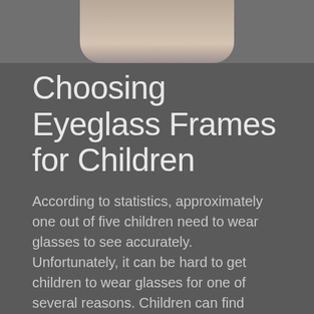[Figure (photo): Top portion of a child's face (forehead and top of head with blonde hair) centered against a dark gray background]
Choosing Eyeglass Frames for Children
According to statistics, approximately one out of five children need to wear glasses to see accurately. Unfortunately, it can be hard to get children to wear glasses for one of several reasons. Children can find glasses uncomfortable, “uncool” and unstylish, or too fragile for an active life.
Fortunately, there are strong, comfortable, stylish frames now made for children. These glasses not only improve vision, but they also